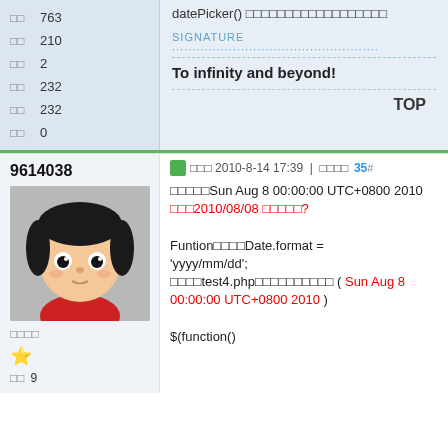|  |  |
| --- | --- |
| □□ | 763 |
| □□ | 210 |
| □□ | 2 |
| □□ | 232 |
| □□ | 232 |
| □□ | 0 |
datePicker() □□□□□□□□□□□□□□□□□□
SIGNATURE
To infinity and beyond!
TOP
9614038
[Figure (illustration): Cartoon avatar of a girl with black hair wearing a red shirt]
□□□□
★
□□  9
□□□ 2010-8-14 17:39  |  □□□□  35 #
□□□□□Sun Aug 8 00:00:00 UTC+0800 2010
□□□2010/08/08 □□□□□?

Funtion□□□□Date.format = 'yyyy/mm/dd';
□□□□test4.php□□□□□□□□□□ ( Sun Aug 8 00:00:00 UTC+0800 2010 )

$(function()